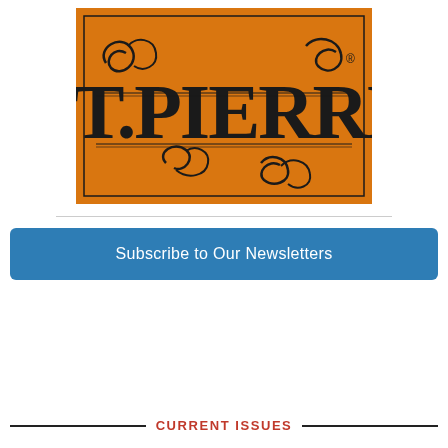[Figure (logo): St. Pierre brand logo on an orange background with decorative black ornate lettering reading 'ST.PIERRE' with scrollwork and flourishes, and a registered trademark symbol.]
Subscribe to Our Newsletters
CURRENT ISSUES